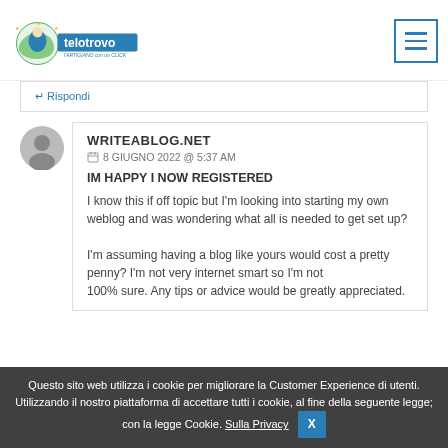telotrovo.it — l'ARTIGIANO con un CLICK
↵ Rispondi
WRITEABLOG.NET
8 GIUGNO 2022 @ 5:37 AM
IM HAPPY I NOW REGISTERED
I know this if off topic but I'm looking into starting my own weblog and was wondering what all is needed to get set up? I'm assuming having a blog like yours would cost a pretty penny? I'm not very internet smart so I'm not 100% sure. Any tips or advice would be greatly appreciated.
Questo sito web utilizza i cookie per migliorare la Customer Experience di utenti. Utilizzando il nostro piattaforma di accettare tutti i cookie, al fine della seguente legge; con la legge Cookie. Sulla Privacy   X